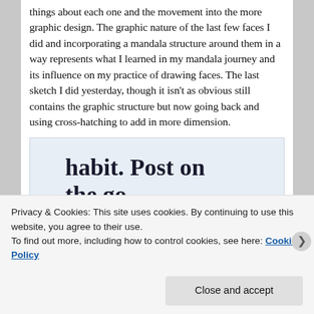things about each one and the movement into the more graphic design. The graphic nature of the last few faces I did and incorporating a mandala structure around them in a way represents what I learned in my mandala journey and its influence on my practice of drawing faces. The last sketch I did yesterday, though it isn't as obvious still contains the graphic structure but now going back and using cross-hatching to add in more dimension.
[Figure (infographic): WordPress app advertisement banner with light blue background showing large serif text 'habit. Post on the go.' and below it 'GET THE APP' in blue uppercase letters alongside a WordPress circular logo icon.]
Privacy & Cookies: This site uses cookies. By continuing to use this website, you agree to their use.
To find out more, including how to control cookies, see here: Cookie Policy
Close and accept